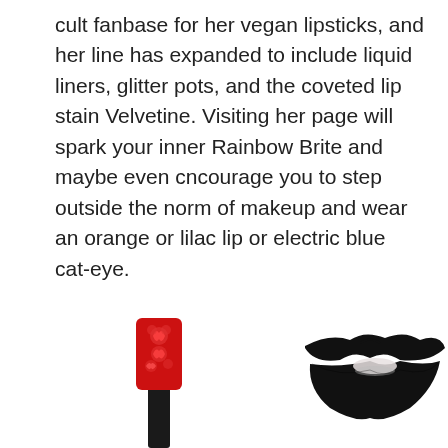cult fanbase for her vegan lipsticks, and her line has expanded to include liquid liners, glitter pots, and the coveted lip stain Velvetine. Visiting her page will spark your inner Rainbow Brite and maybe even cncourage you to step outside the norm of makeup and wear an orange or lilac lip or electric blue cat-eye.
[Figure (photo): Photo of a red lipstick tube with rose pattern design on the left, and black matte lips with teeth slightly visible on the right, both on white background.]